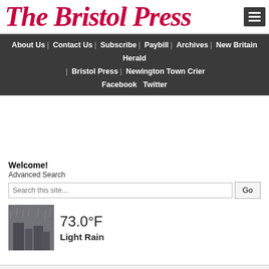The Bristol Press
About Us | Contact Us | Subscribe | Paybill | Archives | New Britain Herald | Bristol Press | Newington Town Crier | Facebook  Twitter
Welcome!
Advanced Search
[Figure (screenshot): Search input box with placeholder 'Search this site...' and a Go button]
[Figure (photo): Weather thumbnail image showing rainy scene]
73.0°F
Light Rain